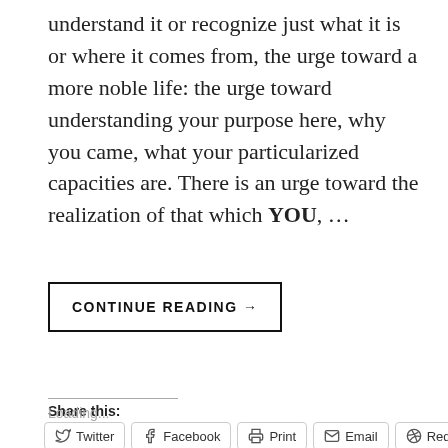understand it or recognize just what it is or where it comes from, the urge toward a more noble life: the urge toward understanding your purpose here, why you came, what your particularized capacities are. There is an urge toward the realization of that which YOU, …
CONTINUE READING →
Share this:
Twitter Facebook Print Email Reddit
Loading...